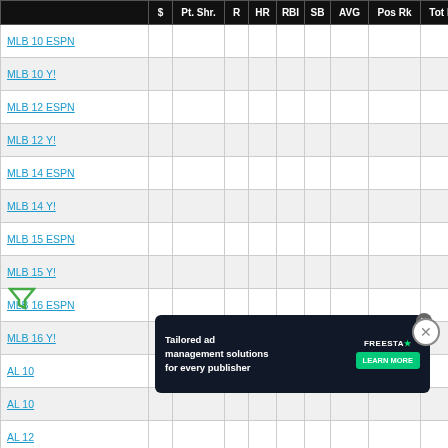|  | $ | Pt. Shr. | R | HR | RBI | SB | AVG | Pos Rk | Tot Rk |
| --- | --- | --- | --- | --- | --- | --- | --- | --- | --- |
| MLB 10 ESPN |  |  |  |  |  |  |  |  |  |
| MLB 10 Y! |  |  |  |  |  |  |  |  |  |
| MLB 12 ESPN |  |  |  |  |  |  |  |  |  |
| MLB 12 Y! |  |  |  |  |  |  |  |  |  |
| MLB 14 ESPN |  |  |  |  |  |  |  |  |  |
| MLB 14 Y! |  |  |  |  |  |  |  |  |  |
| MLB 15 ESPN |  |  |  |  |  |  |  |  |  |
| MLB 15 Y! |  |  |  |  |  |  |  |  |  |
| MLB 16 ESPN |  |  |  |  |  |  |  |  |  |
| MLB 16 Y! |  |  |  |  |  |  |  |  |  |
| AL 10 |  |  |  |  |  |  |  |  |  |
| AL 10 |  |  |  |  |  |  |  |  |  |
| AL 12 |  |  |  |  |  |  |  |  |  |
[Figure (infographic): Advertisement overlay: Tailored ad management solutions for every publisher — FREESTAR LEARN MORE button. Filter icon bottom-left. Close button bottom-right.]